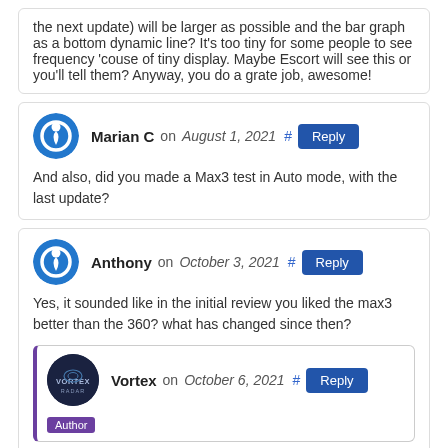the next update) will be larger as possible and the bar graph as a bottom dynamic line? It's too tiny for some people to see frequency 'couse of tiny display. Maybe Escort will see this or you'll tell them? Anyway, you do a grate job, awesome!
Marian C on August 1, 2021 # Reply
And also, did you made a Max3 test in Auto mode, with the last update?
Anthony on October 3, 2021 # Reply
Yes, it sounded like in the initial review you liked the max3 better than the 360? what has changed since then?
Vortex on October 6, 2021 # Reply
Author